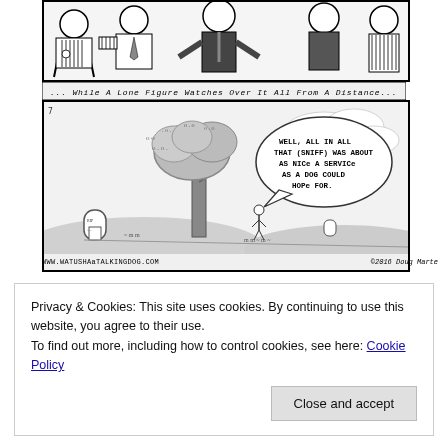[Figure (illustration): Top panel of a comic strip showing several figures in formal attire (suits, ties) gathered together, in black and white pen-and-ink style.]
[Figure (illustration): Bottom panel of a comic strip. Caption reads '...WHILE A LONE FIGURE WATCHES OVER IT ALL FROM A DISTANCE...' Shows a tree, gravestones, a small figure, and a speech bubble saying 'WELL, ALL IN ALL THAT (SNIFF) WAS ABOUT AS NICE A SERVICE AS A DOG COULD HOPE FOR.' Website: WWW.WATUSHA&TALKINGDOG.COM. Copyright: ©2016 Doug Marte]
Privacy & Cookies: This site uses cookies. By continuing to use this website, you agree to their use.
To find out more, including how to control cookies, see here: Cookie Policy
Close and accept